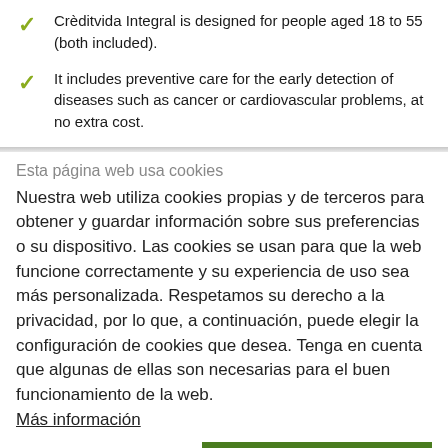Crèditvida Integral is designed for people aged 18 to 55 (both included).
It includes preventive care for the early detection of diseases such as cancer or cardiovascular problems, at no extra cost.
Esta página web usa cookies
Nuestra web utiliza cookies propias y de terceros para obtener y guardar información sobre sus preferencias o su dispositivo. Las cookies se usan para que la web funcione correctamente y su experiencia de uso sea más personalizada. Respetamos su derecho a la privacidad, por lo que, a continuación, puede elegir la configuración de cookies que desea. Tenga en cuenta que algunas de ellas son necesarias para el buen funcionamiento de la web. Más información
Permitir todas las cookies